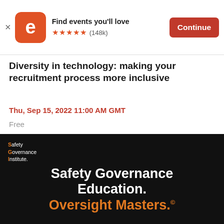[Figure (screenshot): Eventbrite app banner with orange rounded square logo, 'Find events you'll love' text, five orange stars, (148k) reviews, and an orange 'Continue' button]
Diversity in technology: making your recruitment process more inclusive
Thu, Sep 15, 2022 11:00 AM GMT
Free
[Figure (illustration): Safety Governance Institute black banner with SGI logo top-left, white bold text 'Safety Governance Education.' and orange bold text 'Oversight Masters.']